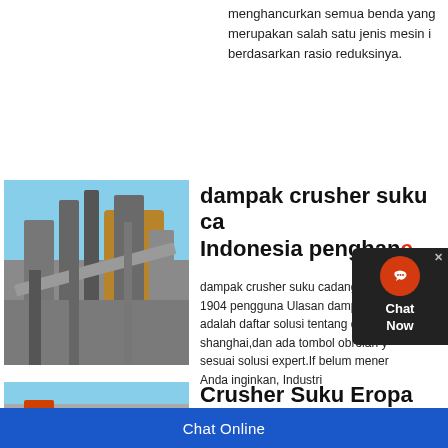menghancurkan semua benda yang merupakan salah satu jenis mesin i berdasarkan rasio reduksinya.
[Figure (photo): Industrial crusher/conveyor machinery at a processing plant, blue sky background]
dampak crusher suku ca Indonesia penghanc
dampak crusher suku cadang 1904 pengguna Ulasan damp adalah daftar solusi tentang d shanghai,dan ada tombol obrolan y sesuai solusi expert.If belum mener Anda inginkan, Industri
[Figure (photo): Orange mobile crusher machine in a riverbed/quarry setting]
Crusher Suku Eropa
Jul 19, 2020 Jul 19, 2020 Tanaman
Chat Online